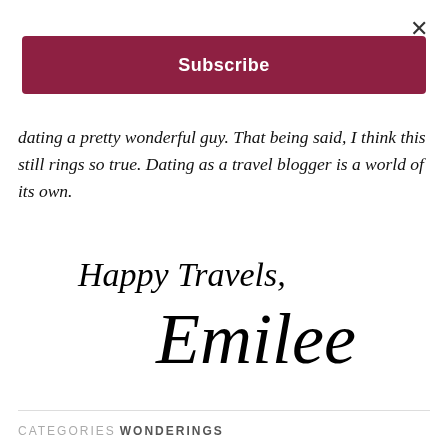×
Subscribe
dating a pretty wonderful guy. That being said, I think this still rings so true. Dating as a travel blogger is a world of its own.
[Figure (illustration): Handwritten cursive signature reading 'Happy Travels, Emilee']
CATEGORIES  WONDERINGS